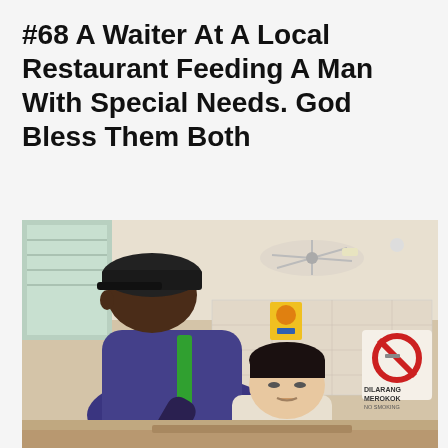#68 A Waiter At A Local Restaurant Feeding A Man With Special Needs. God Bless Them Both
[Figure (photo): A waiter in a dark cap and uniform leans over, feeding a young man with special needs using a spoon inside a local restaurant. A no-smoking sign (DILARANG MEROKOK / NO SMOKING) is visible in the background, along with ceiling fans and tiled walls.]